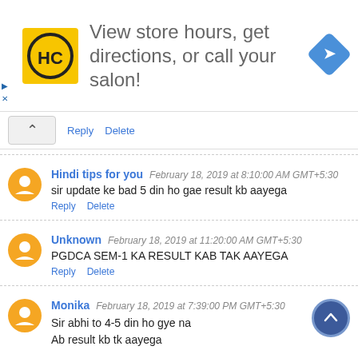[Figure (infographic): Advertisement banner: HC logo (yellow square with black HC letters), text 'View store hours, get directions, or call your salon!', blue diamond navigation arrow icon on right. Side icons with play and X symbols on left edge.]
Reply   Delete
Hindi tips for you   February 18, 2019 at 8:10:00 AM GMT+5:30
sir update ke bad 5 din ho gae result kb aayega
Reply   Delete
Unknown   February 18, 2019 at 11:20:00 AM GMT+5:30
PGDCA SEM-1 KA RESULT KAB TAK AAYEGA
Reply   Delete
Monika   February 18, 2019 at 7:39:00 PM GMT+5:30
Sir abhi to 4-5 din ho gye na
Ab result kb tk aayega